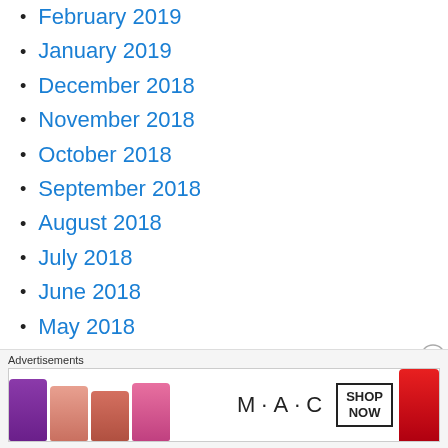February 2019
January 2019
December 2018
November 2018
October 2018
September 2018
August 2018
July 2018
June 2018
May 2018
April 2018
March 2018
February 2018
[Figure (illustration): MAC cosmetics advertisement banner showing colorful lipsticks and MAC logo with SHOP NOW button]